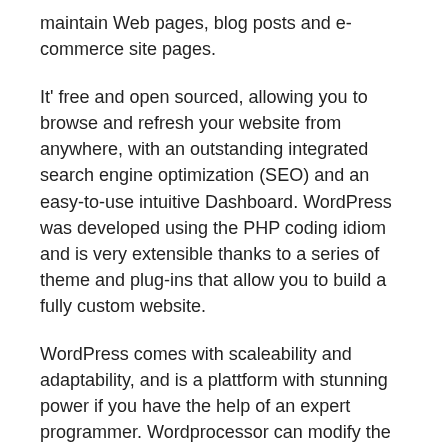maintain Web pages, blog posts and e-commerce site pages.
It' free and open sourced, allowing you to browse and refresh your website from anywhere, with an outstanding integrated search engine optimization (SEO) and an easy-to-use intuitive Dashboard. WordPress was developed using the PHP coding idiom and is very extensible thanks to a series of theme and plug-ins that allow you to build a fully custom website.
WordPress comes with scaleability and adaptability, and is a plattform with stunning power if you have the help of an expert programmer. Wordprocessor can modify the look of your CMS site with customizable template, theme, widget and plugin. Using seperate stylesheet interface and contents it is simple to keep the theme global independently from the contents.
As soon as your website is up and run, you can manage, refresh and post new contents to your website using more than one administrator account. The WordPress developer can setup, modify and service the backend of your WordPress site.